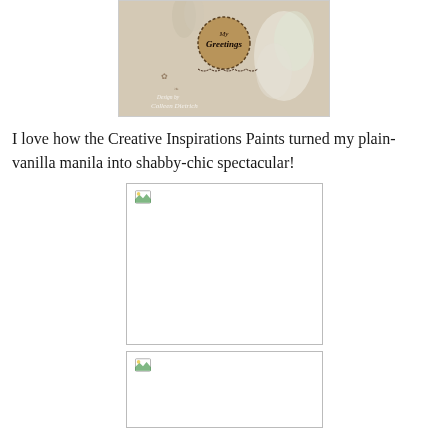[Figure (photo): Crafted greeting card with a circular wooden tag reading 'Greetings' on a floral background, watermarked with designer name Colleen Dietrich]
I love how the Creative Inspirations Paints turned my plain-vanilla manila into shabby-chic spectacular!
[Figure (photo): Placeholder image (broken/unloaded) for craft project photo]
[Figure (photo): Placeholder image (broken/unloaded) for second craft project photo]